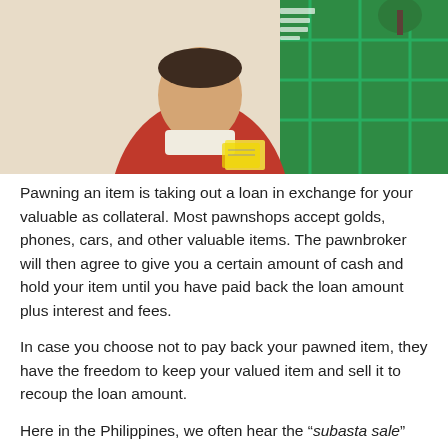[Figure (photo): Person wearing a red sweatshirt holding cash/papers in what appears to be a pawnshop setting with green background signage]
Pawning an item is taking out a loan in exchange for your valuable as collateral. Most pawnshops accept golds, phones, cars, and other valuable items. The pawnbroker will then agree to give you a certain amount of cash and hold your item until you have paid back the loan amount plus interest and fees.
In case you choose not to pay back your pawned item, they have the freedom to keep your valued item and sell it to recoup the loan amount.
Here in the Philippines, we often hear the “subasta sale” from pawnshops. Most of the time, you can buy an item at an affordable price in this subasta sales. This is usually the pawnshop’s way of getting back the amount of money they gave to the pawner who failed to pay back.